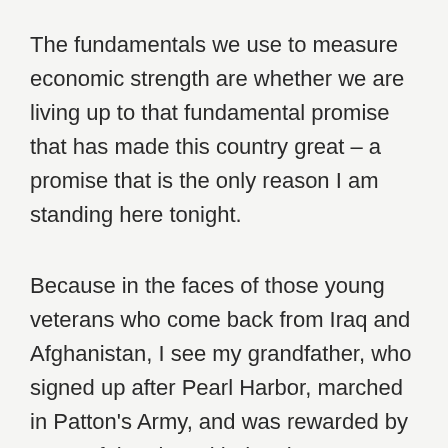The fundamentals we use to measure economic strength are whether we are living up to that fundamental promise that has made this country great – a promise that is the only reason I am standing here tonight.
Because in the faces of those young veterans who come back from Iraq and Afghanistan, I see my grandfather, who signed up after Pearl Harbor, marched in Patton's Army, and was rewarded by a grateful nation with the chance to go to college on the GI Bill. In the face of that young student who sleeps just three hours before working the night